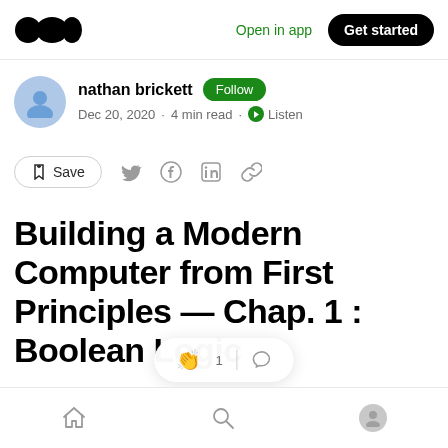Medium logo | Open in app | Get started
nathan brickett  Follow
Dec 20, 2020 · 4 min read · Listen
Save
Building a Modern Computer from First Principles — Chap. 1 : Boolean Logic